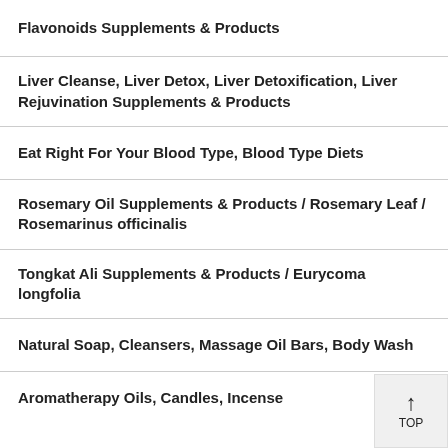Flavonoids Supplements & Products
Liver Cleanse, Liver Detox, Liver Detoxification, Liver Rejuvination Supplements & Products
Eat Right For Your Blood Type, Blood Type Diets
Rosemary Oil Supplements & Products / Rosemary Leaf / Rosemarinus officinalis
Tongkat Ali Supplements & Products / Eurycoma longfolia
Natural Soap, Cleansers, Massage Oil Bars, Body Wash
Aromatherapy Oils, Candles, Incense